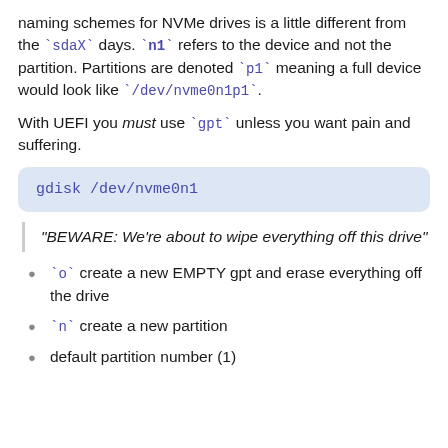naming schemes for NVMe drives is a little different from the `sdaX` days. `n1` refers to the device and not the partition. Partitions are denoted `p1` meaning a full device would look like `/dev/nvme0n1p1`.
With UEFI you must use `gpt` unless you want pain and suffering.
gdisk /dev/nvme0n1
“BEWARE: We’re about to wipe everything off this drive”
`o` create a new EMPTY gpt and erase everything off the drive
`n` create a new partition
default partition number (1)